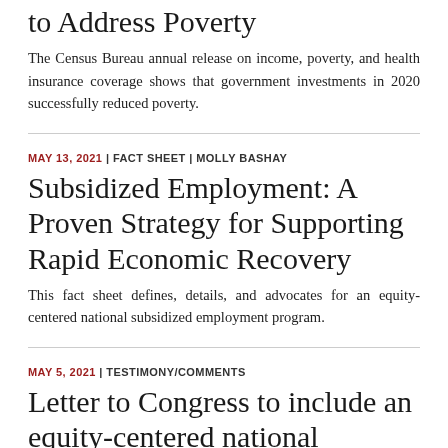to Address Poverty
The Census Bureau annual release on income, poverty, and health insurance coverage shows that government investments in 2020 successfully reduced poverty.
MAY 13, 2021 | FACT SHEET | MOLLY BASHAY
Subsidized Employment: A Proven Strategy for Supporting Rapid Economic Recovery
This fact sheet defines, details, and advocates for an equity-centered national subsidized employment program.
MAY 5, 2021 | TESTIMONY/COMMENTS
Letter to Congress to include an equity-centered national